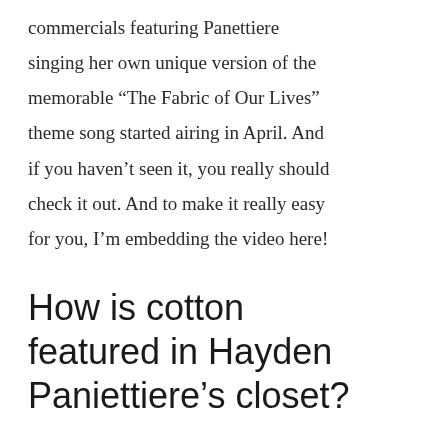commercials featuring Panettiere singing her own unique version of the memorable “The Fabric of Our Lives” theme song started airing in April. And if you haven’t seen it, you really should check it out. And to make it really easy for you, I’m embedding the video here!
How is cotton featured in Hayden Paniettiere’s closet?